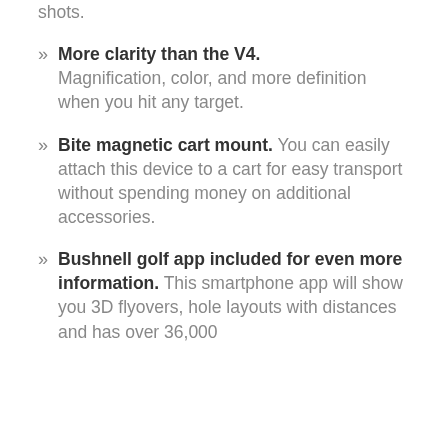shots.
More clarity than the V4. Magnification, color, and more definition when you hit any target.
Bite magnetic cart mount. You can easily attach this device to a cart for easy transport without spending money on additional accessories.
Bushnell golf app included for even more information. This smartphone app will show you 3D flyovers, hole layouts with distances and has over 36,000